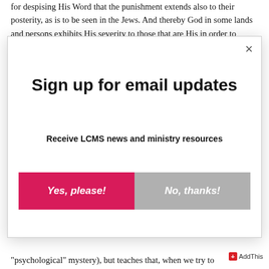for despising His Word that the punishment extends also to their posterity, as is to be seen in the Jews. And thereby God in some lands and persons exhibits His severity to those that are His in order to indicate what we all would have well deserved and would be worthy and worth, since we act wickedly in opposition to God's Word and often grieve the Holy Ghost sorely; in order that we may live in the fear of God and acknowledge and praise God's
[Figure (screenshot): Modal popup dialog with white background and drop shadow. Contains a close button (×) in the top right, a bold title 'Sign up for email updates', subtitle 'Receive LCMS news and ministry resources', and two buttons: a pink/red 'Yes, please!' button and a gray 'No, thanks!' button.]
"psychological" mystery), but teaches that, when we try to